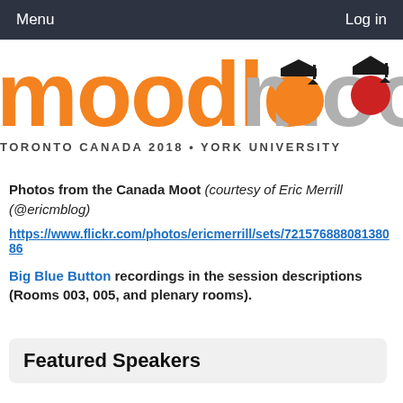Menu    Log in
[Figure (logo): MoodleMoot logo with orange and gray text, graduation cap graphic, subtitle TORONTO CANADA 2018 • YORK UNIVERSITY]
Photos from the Canada Moot (courtesy of Eric Merrill (@ericmblog)
https://www.flickr.com/photos/ericmerrill/sets/7215768880813808686
Big Blue Button recordings in the session descriptions (Rooms 003, 005, and plenary rooms).
Featured Speakers